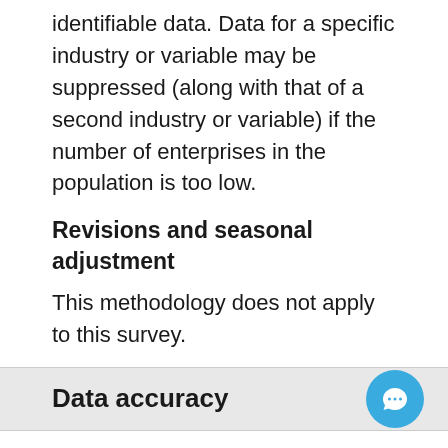identifiable data. Data for a specific industry or variable may be suppressed (along with that of a second industry or variable) if the number of enterprises in the population is too low.
Revisions and seasonal adjustment
This methodology does not apply to this survey.
Data accuracy
While considerable effort is put forth to ensure that a high standard is maintained throughout all survey